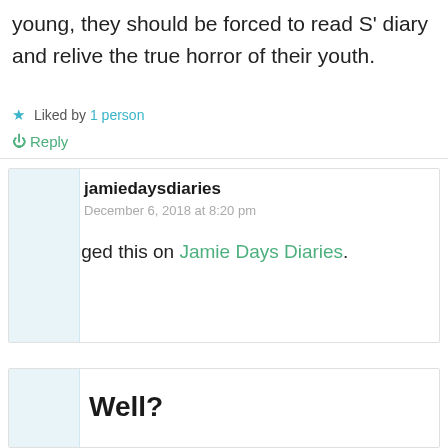young, they should be forced to read S' diary and relive the true horror of their youth.
★ Liked by 1 person
↺ Reply
jamiedaysdiaries
December 6, 2018 at 8:20 pm
Reblogged this on Jamie Days Diaries.
★ Like
↺ Reply
Well?